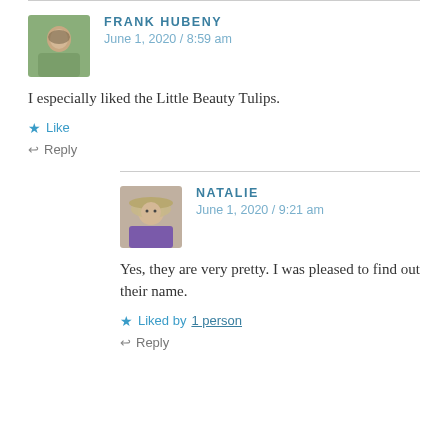FRANK HUBENY
June 1, 2020 / 8:59 am
I especially liked the Little Beauty Tulips.
★ Like
↩ Reply
NATALIE
June 1, 2020 / 9:21 am
Yes, they are very pretty. I was pleased to find out their name.
★ Liked by 1 person
↩ Reply